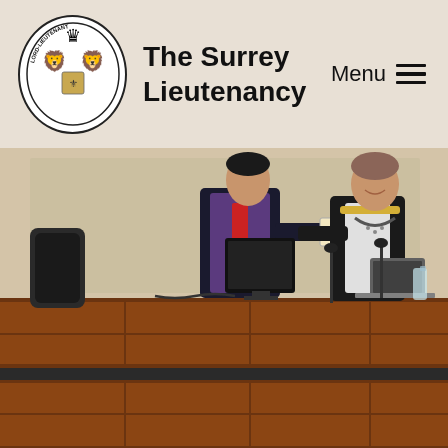The Surrey Lieutenancy
[Figure (photo): A council chamber scene with two people standing behind a wooden bench/desk. One person in a dark suit with red tie is handing a framed certificate to a woman in a black jacket with a chain of office. A laptop, microphone, and water bottle are visible on the desk. The lower portion shows tiered wooden panelling, green carpet with pattern, and an empty chamber.]